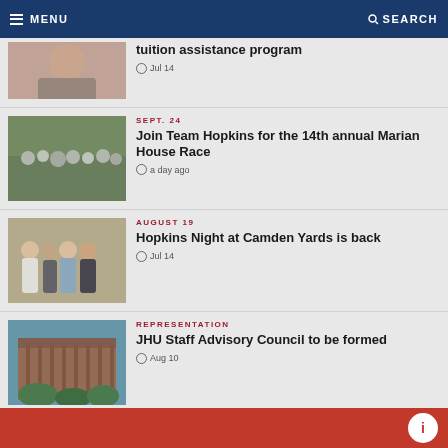MENU | SEARCH
tuition assistance program
Jul 14
SEPT. 24
Join Team Hopkins for the 14th annual Marian House Race
a day ago
[Figure (photo): Group of people at outdoor event for Team Hopkins Marian House Race]
AUGUST 19
Hopkins Night at Camden Yards is back
Jul 14
[Figure (photo): Four people posing together outdoors at Camden Yards Hopkins Night event]
REPRESENTATION
JHU Staff Advisory Council to be formed
Aug 10
[Figure (photo): Building exterior of JHU campus building]